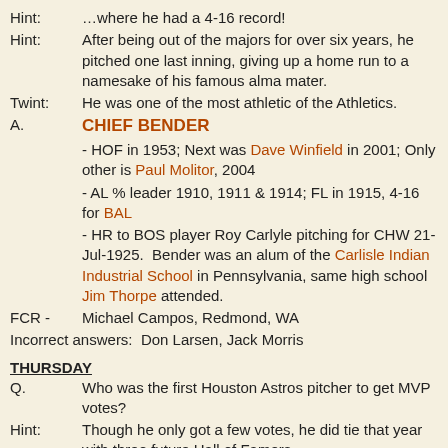Hint: …where he had a 4-16 record!
Hint: After being out of the majors for over six years, he pitched one last inning, giving up a home run to a namesake of his famous alma mater.
Twint: He was one of the most athletic of the Athletics.
A. CHIEF BENDER
- HOF in 1953; Next was Dave Winfield in 2001; Only other is Paul Molitor, 2004
- AL % leader 1910, 1911 & 1914; FL in 1915, 4-16 for BAL
- HR to BOS player Roy Carlyle pitching for CHW 21-Jul-1925. Bender was an alum of the Carlisle Indian Industrial School in Pennsylvania, same high school Jim Thorpe attended.
FCR - Michael Campos, Redmond, WA
Incorrect answers: Don Larsen, Jack Morris
THURSDAY
Q. Who was the first Houston Astros pitcher to get MVP votes?
Hint: Though he only got a few votes, he did tie that year with three future Hall of Famers.